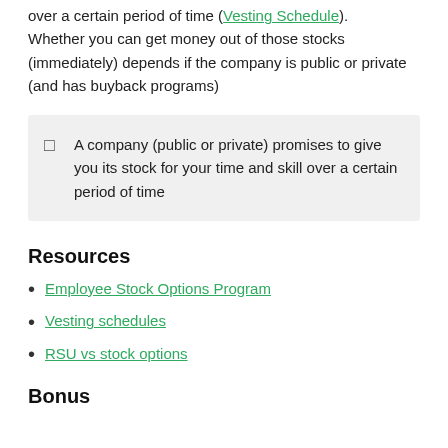over a certain period of time (Vesting Schedule). Whether you can get money out of those stocks (immediately) depends if the company is public or private (and has buyback programs)
A company (public or private) promises to give you its stock for your time and skill over a certain period of time
Resources
Employee Stock Options Program
Vesting schedules
RSU vs stock options
Bonus